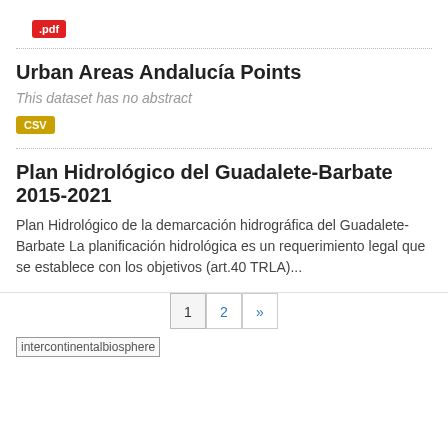[Figure (logo): .pdf badge in red]
Urban Areas Andalucía Points
This dataset has no abstract
[Figure (logo): CSV badge in yellow/gold]
Plan Hidrológico del Guadalete-Barbate 2015-2021
Plan Hidrológico de la demarcación hidrográfica del Guadalete-Barbate La planificación hidrológica es un requerimiento legal que se establece con los objetivos (art.40 TRLA)...
1 2 »
[Figure (logo): intercontinentalbiosphere image placeholder]